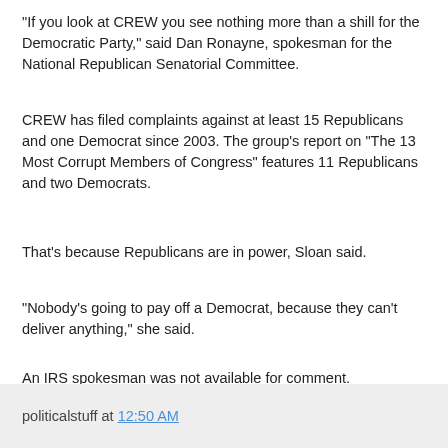"If you look at CREW you see nothing more than a shill for the Democratic Party," said Dan Ronayne, spokesman for the National Republican Senatorial Committee.
CREW has filed complaints against at least 15 Republicans and one Democrat since 2003. The group's report on "The 13 Most Corrupt Members of Congress" features 11 Republicans and two Democrats.
That's because Republicans are in power, Sloan said.
"Nobody's going to pay off a Democrat, because they can't deliver anything," she said.
An IRS spokesman was not available for comment.
politicalstuff at 12:50 AM